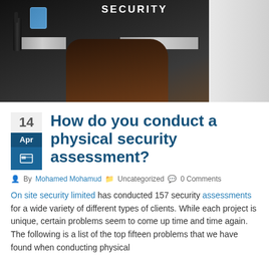[Figure (photo): A security guard wearing a black vest with 'SECURITY' text and reflective strips, holding a walkie-talkie, with another person in a white shirt partially visible.]
How do you conduct a physical security assessment?
By Mohamed Mohamud  Uncategorized  0 Comments
On site security limited has conducted 157 security assessments for a wide variety of different types of clients. While each project is unique, certain problems seem to come up time and time again. The following is a list of the top fifteen problems that we have found when conducting physical